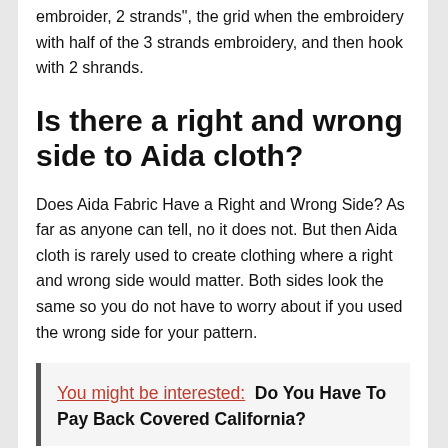embroider, 2 strands", the grid when the embroidery with half of the 3 strands embroidery, and then hook with 2 shrands.
Is there a right and wrong side to Aida cloth?
Does Aida Fabric Have a Right and Wrong Side? As far as anyone can tell, no it does not. But then Aida cloth is rarely used to create clothing where a right and wrong side would matter. Both sides look the same so you do not have to worry about if you used the wrong side for your pattern.
You might be interested:  Do You Have To Pay Back Covered California?